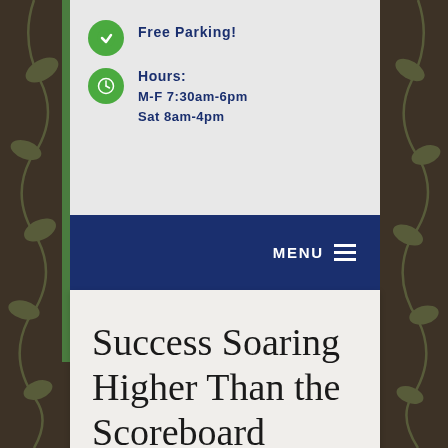Free Parking!
Hours:
M-F 7:30am-6pm
Sat 8am-4pm
MENU
Success Soaring Higher Than the Scoreboard